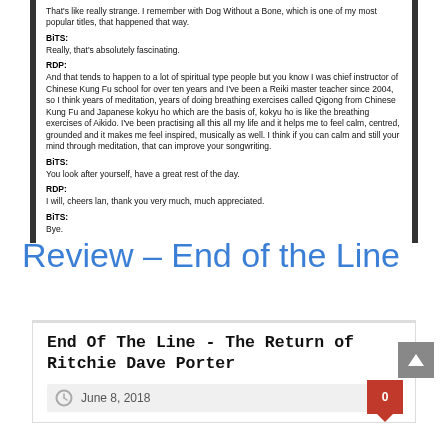That's like really strange. I remember with Dog Without a Bone, which is one of my most popular titles, that happened that way.
BiTS: Really, that's absolutely fascinating.
RDP: And that tends to happen to a lot of spiritual type people but you know I was chief instructor of Chinese Kung Fu school for over ten years and I've been a Reiki master teacher since 2004, so I think years of meditation, years of doing breathing exercises called Qigong from Chinese Kung Fu and Japanese kokyu ho which are the basis of, kokyu ho is like the breathing exercises of Aikido. I've been practising all this all my life and it helps me to feel calm, centred, grounded and it makes me feel inspired, musically as well. I think if you can calm and still your mind through meditation, that can improve your songwriting.
BiTS: You look after yourself, have a great rest of the day.
RDP: I will, cheers lan, thank you very much, much appreciated.
BiTS: Bye.
Review – End of the Line
End Of The Line - The Return of Ritchie Dave Porter
June 8, 2018